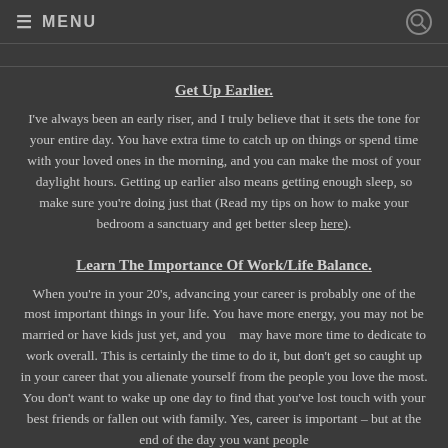≡ MENU
Get Up Earlier.
I've always been an early riser, and I truly believe that it sets the tone for your entire day. You have extra time to catch up on things or spend time with your loved ones in the morning, and you can make the most of your daylight hours. Getting up earlier also means getting enough sleep, so make sure you're doing just that (Read my tips on how to make your bedroom a sanctuary and get better sleep here).
Learn The Importance Of Work/Life Balance.
When you're in your 20's, advancing your career is probably one of the most important things in your life. You have more energy, you may not be married or have kids just yet, and you may have more time to dedicate to work overall. This is certainly the time to do it, but don't get so caught up in your career that you alienate yourself from the people you love the most. You don't want to wake up one day to find that you've lost touch with your best friends or fallen out with family. Yes, career is important – but at the end of the day you want people